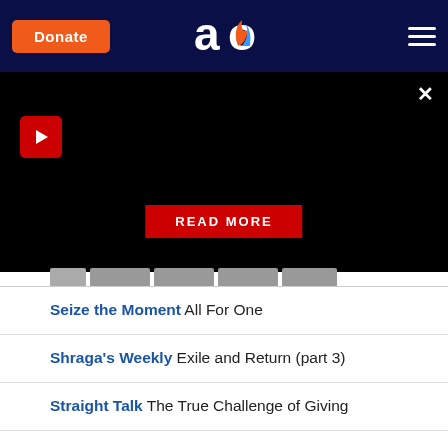[Figure (screenshot): Website header with dark navy background, orange Donate button on left, 'ao' flame logo in center, hamburger menu on right]
[Figure (screenshot): Black video player area with red play button in top left, X close button in top right, red READ MORE button in center]
Seize the Moment All For One
Shraga's Weekly Exile and Return (part 3)
Straight Talk The True Challenge of Giving
Torah Bytes Nothing Else Works
Torah for Your Table Positive Criticism and What It Means to Be a Jew
Weekly Wisdom How Many Days Old Are You?
Weekly Jewish Wisdom Proper Intentions